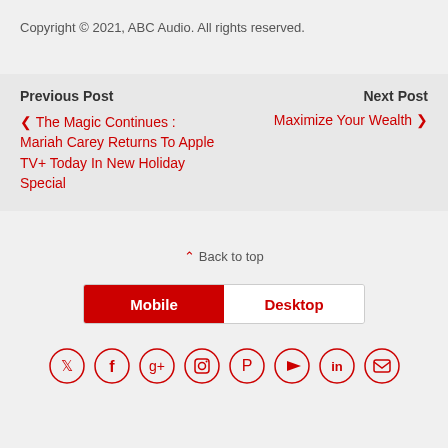Copyright © 2021, ABC Audio. All rights reserved.
Previous Post
‹ The Magic Continues : Mariah Carey Returns To Apple TV+ Today In New Holiday Special
Next Post
Maximize Your Wealth ›
⌃ Back to top
Mobile | Desktop
[Figure (infographic): Row of 8 social media icons in red circles: Twitter, Facebook, Google+, Instagram, Pinterest, YouTube, LinkedIn, RSS]